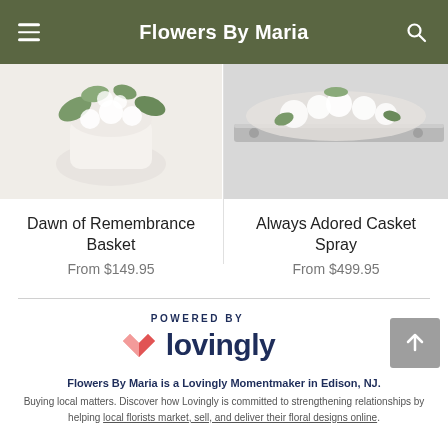Flowers By Maria
[Figure (photo): Product image of Dawn of Remembrance Basket - white floral arrangement in basket]
Dawn of Remembrance Basket
From $149.95
[Figure (photo): Product image of Always Adored Casket Spray - floral casket spray arrangement]
Always Adored Casket Spray
From $499.95
[Figure (logo): Powered by Lovingly logo with heart icon]
Flowers By Maria is a Lovingly Momentmaker in Edison, NJ.
Buying local matters. Discover how Lovingly is committed to strengthening relationships by helping local florists market, sell, and deliver their floral designs online.